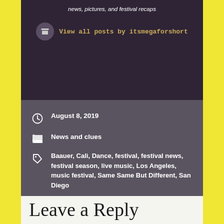news, pictures, and festival recaps
View all posts by itsmegaforshort
August 8, 2019
News and clues
Baauer, Cali, Dance, festival, festival news, festival season, live music, Los Angeles, music festival, Same Same But Different, San Diego
An ~Honest~ Review of Lollapalooza 2019
Sixth Annual Resonance Festival
Leave a Reply